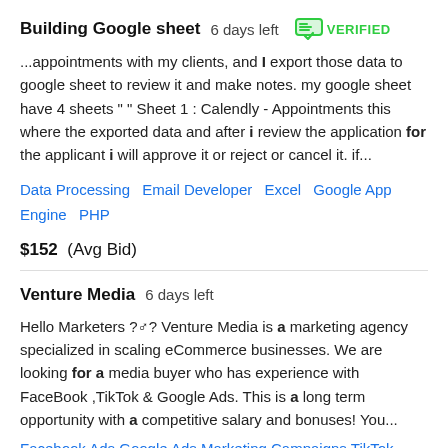Building Google sheet  6 days left  VERIFIED
...appointments with my clients, and I export those data to google sheet to review it and make notes. my google sheet have 4 sheets " " Sheet 1 : Calendly - Appointments this where the exported data and after i review the application for the applicant i will approve it or reject or cancel it. if...
Data Processing   Email Developer   Excel   Google App Engine   PHP
$152  (Avg Bid)
Venture Media  6 days left
Hello Marketers ? ♂ ? Venture Media is a marketing agency specialized in scaling eCommerce businesses. We are looking for a media buyer who has experience with FaceBook ,TikTok & Google Ads. This is a long term opportunity with a competitive salary and bonuses! You...